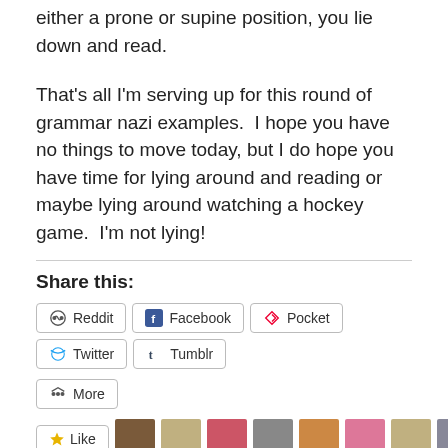either a prone or supine position, you lie down and read.
That’s all I’m serving up for this round of grammar nazi examples.  I hope you have no things to move today, but I do hope you have time for lying around and reading or maybe lying around watching a hockey game.  I’m not lying!
Share this:
Reddit  Facebook  Pocket  Twitter  Tumblr
More
Like  [blogger avatars]
21 bloggers like this.
Grammar nazi sightings–signs of the times
January 25, 2013